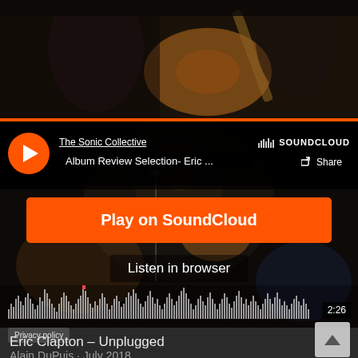[Figure (screenshot): Top portion of a dark concert/music photo showing a guitarist with an acoustic guitar on stage, dark background]
[Figure (screenshot): SoundCloud embedded music player widget showing: play button, artist 'The Sonic Collective', track 'Album Review Selection- Eric ...', SoundCloud logo, Share button, 'Play on SoundCloud' orange button, 'Listen in browser' text, waveform visualization, duration 2:26, Privacy policy button, scroll-up button]
Eric Clapton – Unplugged
Alain DuPuis · July 2018